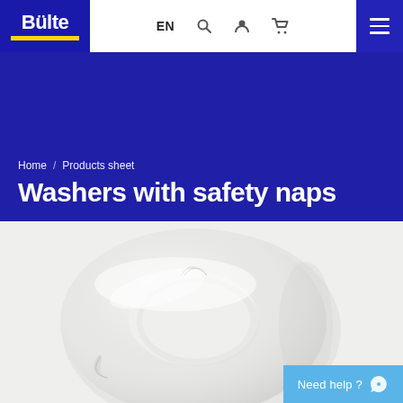Bülte  EN
Home / Products sheet
Washers with safety naps
[Figure (photo): Close-up photograph of a white plastic washer with safety naps on a light grey background]
Need help ?